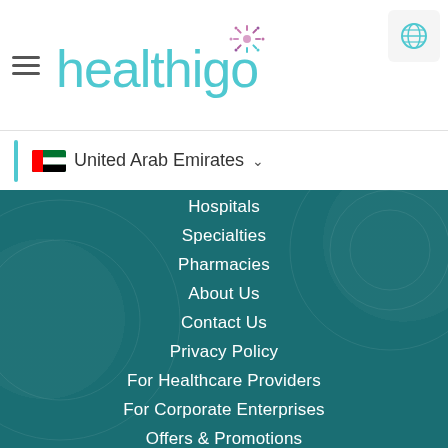[Figure (logo): Healthigo logo with teal text and colorful sun/dots icon]
United Arab Emirates
Hospitals
Specialties
Pharmacies
About Us
Contact Us
Privacy Policy
For Healthcare Providers
For Corporate Enterprises
Offers & Promotions
Health & Wellness Blog
Follow us on Social Media